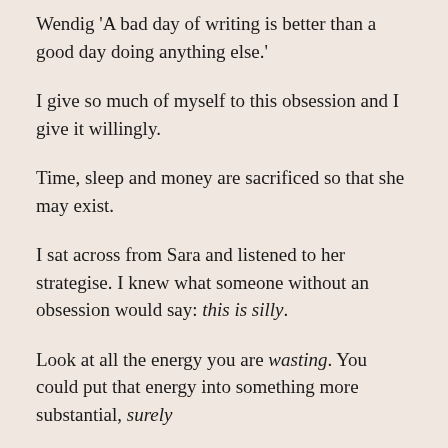Wendig 'A bad day of writing is better than a good day doing anything else.'
I give so much of myself to this obsession and I give it willingly.
Time, sleep and money are sacrificed so that she may exist.
I sat across from Sara and listened to her strategise. I knew what someone without an obsession would say: this is silly.
Look at all the energy you are wasting. You could put that energy into something more substantial, surely.